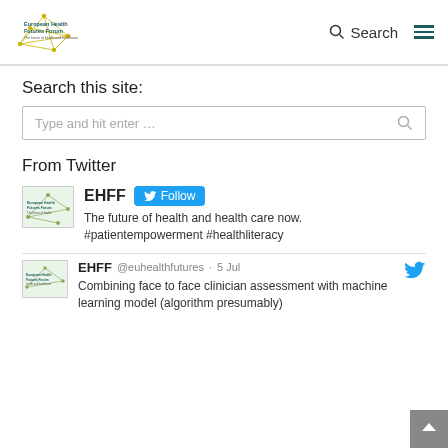European Health Futures Forum — The future of health and healthcare now. Search | Menu
Search this site:
Type and hit enter ...
From Twitter
EHFF Follow
The future of health and health care now. #patientempowerment #healthliteracy
EHFF @euhealthfutures · 5 Jul
Combining face to face clinician assessment with machine learning model (algorithm presumably)